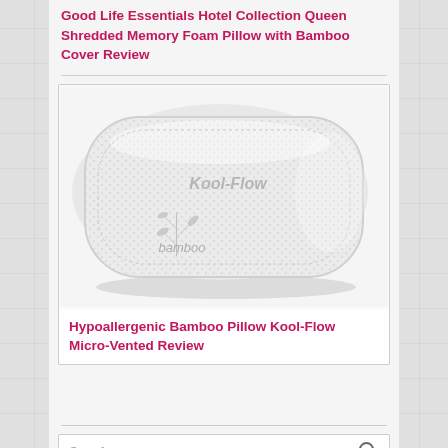Good Life Essentials Hotel Collection Queen Shredded Memory Foam Pillow with Bamboo Cover Review
[Figure (photo): Photo of a white Hypoallergenic Bamboo Pillow with Kool-Flow Micro-Vented cover, showing bamboo logo and kool-flow text on the pillow surface]
Hypoallergenic Bamboo Pillow Kool-Flow Micro-Vented Review
Search